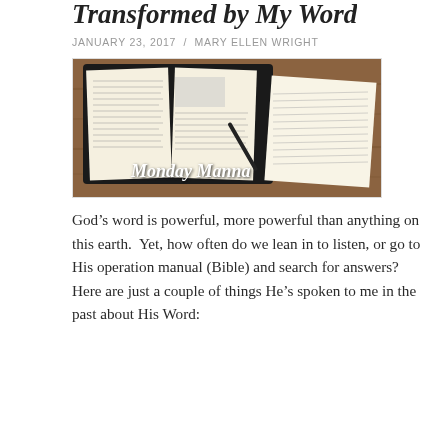Transformed by My Word
JANUARY 23, 2017  /  MARY ELLEN WRIGHT
[Figure (photo): Open Bible with handwritten notes in a journal, a pen resting alongside, on a wooden table. Text overlay reads 'Monday Manna' in white cursive script.]
God’s word is powerful, more powerful than anything on this earth.  Yet, how often do we lean in to listen, or go to His operation manual (Bible) and search for answers?  Here are just a couple of things He’s spoken to me in the past about His Word: